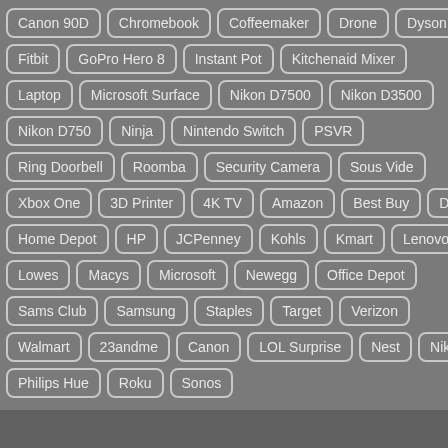Canon 90D
Chromebook
Coffeemaker
Drone
Dyson
Fitbit
GoPro Hero 8
Instant Pot
Kitchenaid Mixer
Laptop
Microsoft Surface
Nikon D7500
Nikon D3500
Nikon D750
Ninja
Nintendo Switch
PSVR
Ring Doorbell
Roomba
Security Camera
Sous Vide
Xbox One
3D Printer
4K TV
Amazon
Best Buy
Dell
Home Depot
HP
JCPenney
Kohls
Kmart
Lenovo
Lowes
Macys
Microsoft
Newegg
Office Depot
Sams Club
Samsung
Staples
Target
Verizon
Walmart
23andme
Canon
LOL Surprise
Nest
Nikon
Philips Hue
Roku
Sonos